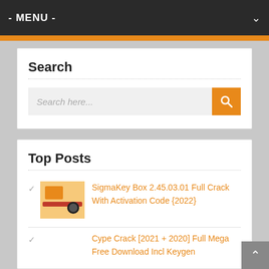- MENU -
Search
Search here...
Top Posts
SigmaKey Box 2.45.03.01 Full Crack With Activation Code {2022}
Cype Crack [2021 + 2020] Full Mega Free Download Incl Keygen
iMazing 2.14.6 Crack Reddit Mac + Activation Number 2022